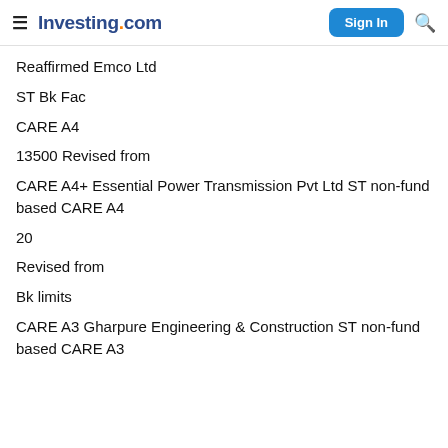Investing.com
Reaffirmed Emco Ltd
ST Bk Fac
CARE A4
13500 Revised from
CARE A4+ Essential Power Transmission Pvt Ltd ST non-fund based CARE A4
20
Revised from
Bk limits
CARE A3 Gharpure Engineering & Construction ST non-fund based CARE A3